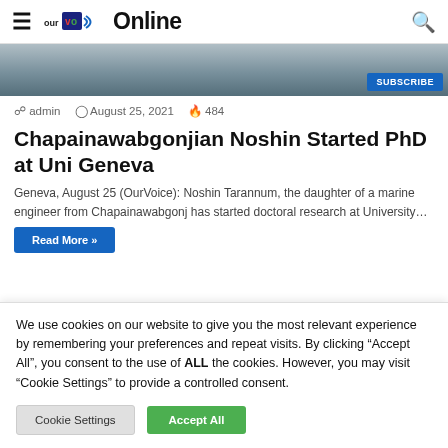our Voice Online
[Figure (photo): Partial photo of people, cropped at top, with a blue Subscribe button in the lower right corner]
admin  August 25, 2021  484
Chapainawabgonjian Noshin Started PhD at Uni Geneva
Geneva, August 25 (OurVoice): Noshin Tarannum, the daughter of a marine engineer from Chapainawabgonj has started doctoral research at University…
Read More »
We use cookies on our website to give you the most relevant experience by remembering your preferences and repeat visits. By clicking "Accept All", you consent to the use of ALL the cookies. However, you may visit "Cookie Settings" to provide a controlled consent.
Cookie Settings  Accept All